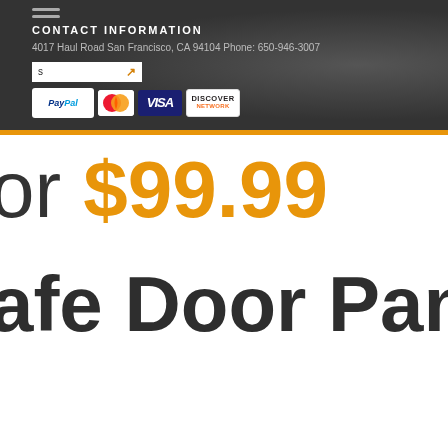CONTACT INFORMATION
4017 Haul Road San Francisco, CA 94104 Phone: 650-946-3007
[Figure (screenshot): Payment method icons: PayPal, MasterCard, Visa, Discover]
or $99.99
afe Door Panel Or